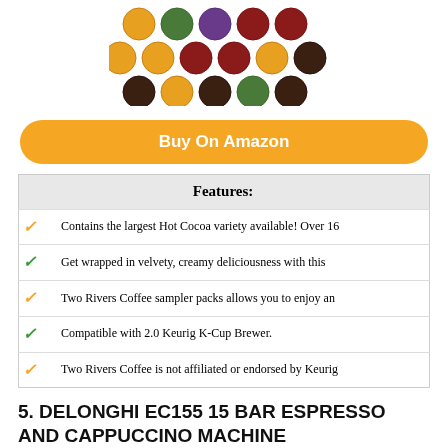[Figure (photo): Colorful K-Cup coffee pods arranged in rows showing variety pack]
Buy On Amazon
| Features: |
| --- |
| ✓ Contains the largest Hot Cocoa variety available! Over 16 |
| ✓ Get wrapped in velvety, creamy deliciousness with this |
| ✓ Two Rivers Coffee sampler packs allows you to enjoy an |
| ✓ Compatible with 2.0 Keurig K-Cup Brewer. |
| ✓ Two Rivers Coffee is not affiliated or endorsed by Keurig |
5. DELONGHI EC155 15 BAR ESPRESSO AND CAPPUCCINO MACHINE
[Figure (photo): DeLonghi EC155 espresso and cappuccino machine, black and silver]